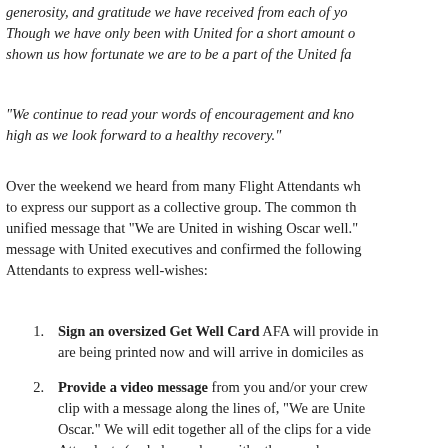generosity, and gratitude we have received from each of yo... Though we have only been with United for a short amount o... shown us how fortunate we are to be a part of the United fa...
"We continue to read your words of encouragement and kno... high as we look forward to a healthy recovery."
Over the weekend we heard from many Flight Attendants wh... to express our support as a collective group. The common th... unified message that "We are United in wishing Oscar well." ... message with United executives and confirmed the following... Attendants to express well-wishes:
Sign an oversized Get Well Card AFA will provide i... are being printed now and will arrive in domiciles as...
Provide a video message from you and/or your crew... clip with a message along the lines of, "We are Unite... Oscar." We will edit together all of the clips for a vide... Attendants (and please share with other employees... us). Go to http://ourcontract.org/upload/ to upload...